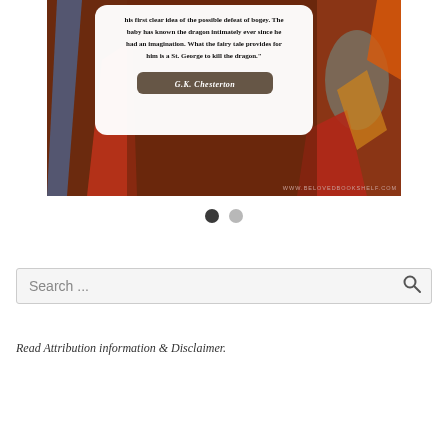[Figure (illustration): Medieval artwork background with a white rounded quote box overlay. The quote reads: 'his first clear idea of the possible defeat of bogey. The baby has known the dragon intimately ever since he had an imagination. What the fairy tale provides for him is a St. George to kill the dragon.' Attribution: G.K. Chesterton. Website: www.belovedbookshelf.com]
• •  (navigation dots)
Search ...
Read Attribution information & Disclaimer.